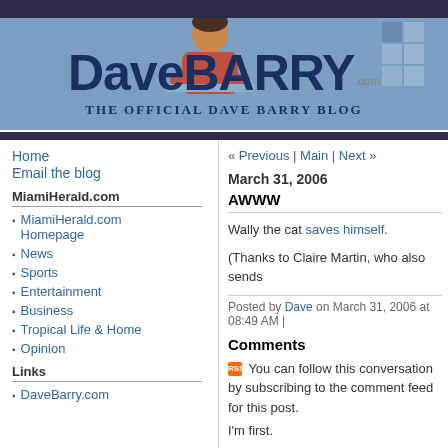DaveBARRY.com — THE OFFICIAL DAVE BARRY BLOG
Home
Email the blog
MiamiHerald.com
MiamiHerald.com Homepage
News
Sports
Entertainment
Business
Tropical Life & Home
Opinion
Links
DaveBarry.com
« Previous | Main | Next »
March 31, 2006
AWWW
Wally the cat saves himself.
(Thanks to Claire Martin, who also sends
Posted by Dave on March 31, 2006 at 08:49 AM |
Comments
You can follow this conversation by subscribing to the comment feed for this post.
I'm first.